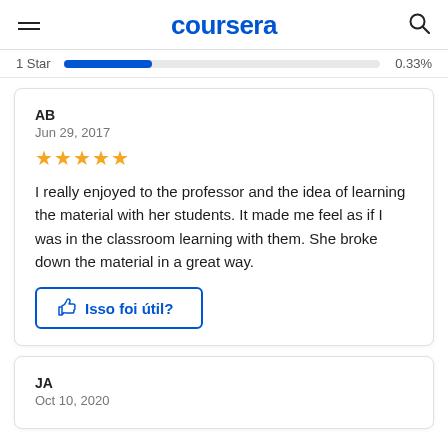coursera
1 Star   0.33%
AB
Jun 29, 2017
★★★★★
I really enjoyed to the professor and the idea of learning the material with her students. It made me feel as if I was in the classroom learning with them. She broke down the material in a great way.
👍 Isso foi útil?
JA
Oct 10, 2020